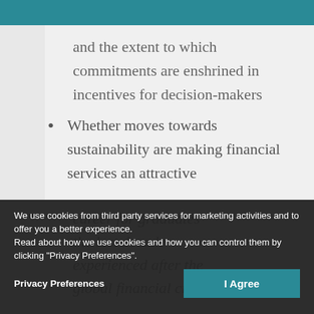and the extent to which commitments are enshrined in incentives for decision-makers
Whether moves towards sustainability are making financial services an attractive career for graduates
the lost decade experienced after the global financial crisis
We use cookies from third party services for marketing activities and to offer you a better experience.
Read about how we use cookies and how you can control them by clicking "Privacy Preferences".